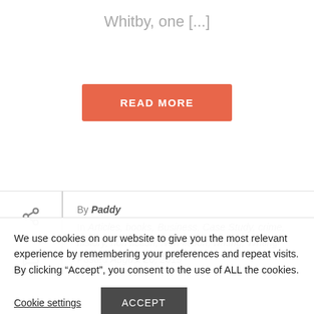Whitby, one [...]
READ MORE
By Paddy
In Articles, books, Business, Case Study, crime, history, non fiction, Non-fiction, writing, Writing
Posted August 26, 2019
We use cookies on our website to give you the most relevant experience by remembering your preferences and repeat visits. By clicking “Accept”, you consent to the use of ALL the cookies.
Cookie settings
ACCEPT